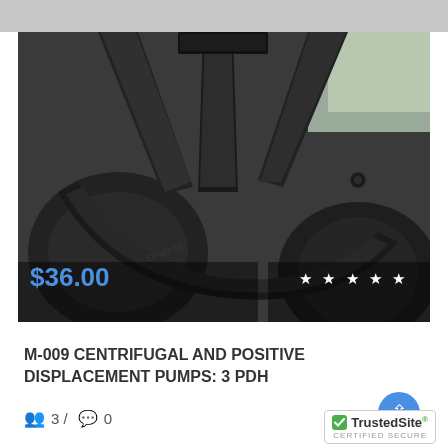[Figure (photo): Close-up photograph of a centrifugal pump impeller — dark/black cast metal with curved vanes and ridges, industrial machinery component.]
$36.00
M-009 CENTRIFUGAL AND POSITIVE DISPLACEMENT PUMPS: 3 PDH
3 / 0